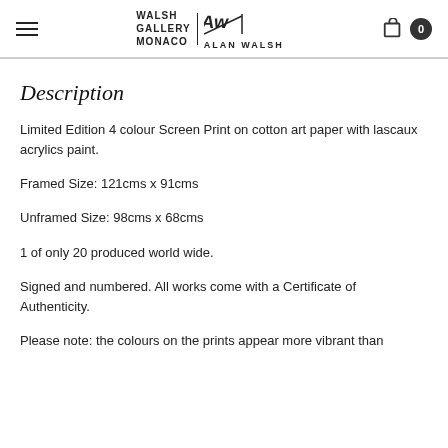WALSH GALLERY MONACO | Alan Walsh
Description
Limited Edition 4 colour Screen Print on cotton art paper with lascaux acrylics paint.
Framed Size: 121cms x 91cms
Unframed Size: 98cms x 68cms
1 of only 20 produced world wide.
Signed and numbered. All works come with a Certificate of Authenticity.
Please note: the colours on the prints appear more vibrant than